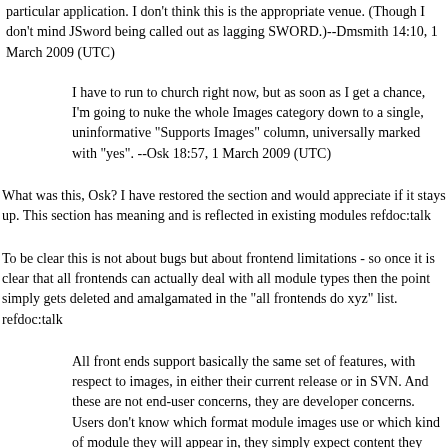particular application. I don't think this is the appropriate venue. (Though I don't mind JSword being called out as lagging SWORD.)--Dmsmith 14:10, 1 March 2009 (UTC)
I have to run to church right now, but as soon as I get a chance, I'm going to nuke the whole Images category down to a single, uninformative "Supports Images" column, universally marked with "yes". --Osk 18:57, 1 March 2009 (UTC)
What was this, Osk? I have restored the section and would appreciate if it stays up. This section has meaning and is reflected in existing modules refdoc:talk
To be clear this is not about bugs but about frontend limitations - so once it is clear that all frontends can actually deal with all module types then the point simply gets deleted and amalgamated in the "all frontends do xyz" list. refdoc:talk
All front ends support basically the same set of features, with respect to images, in either their current release or in SVN. And these are not end-user concerns, they are developer concerns. Users don't know which format module images use or which kind of module they will appear in, they simply expect content they download to work. So this whole section is completely